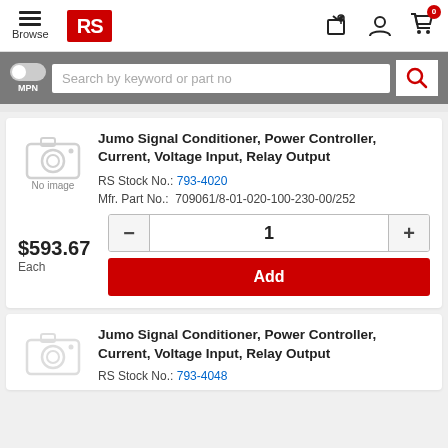RS Components - Browse
Search by keyword or part no
Jumo Signal Conditioner, Power Controller, Current, Voltage Input, Relay Output
RS Stock No.: 793-4020
Mfr. Part No.: 709061/8-01-020-100-230-00/252
$593.67 Each
Jumo Signal Conditioner, Power Controller, Current, Voltage Input, Relay Output
RS Stock No.: 793-4048